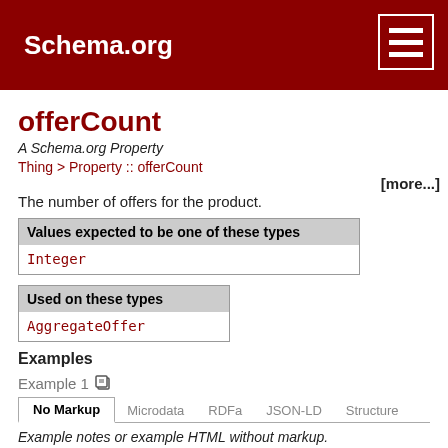Schema.org
offerCount
A Schema.org Property
Thing > Property :: offerCount
[more...]
The number of offers for the product.
| Values expected to be one of these types |
| --- |
| Integer |
| Used on these types |
| --- |
| AggregateOffer |
Examples
Example 1
No Markup  Microdata  RDFa  JSON-LD  Structure
Example notes or example HTML without markup.